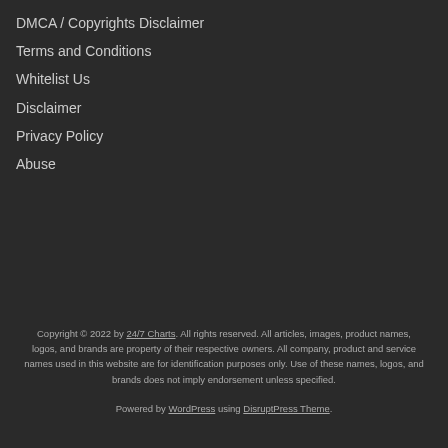DMCA / Copyrights Disclaimer
Terms and Conditions
Whitelist Us
Disclaimer
Privacy Policy
Abuse
Copyright © 2022 by 24/7 Charts. All rights reserved. All articles, images, product names, logos, and brands are property of their respective owners. All company, product and service names used in this website are for identification purposes only. Use of these names, logos, and brands does not imply endorsement unless specified.
Powered by WordPress using DisruptPress Theme.